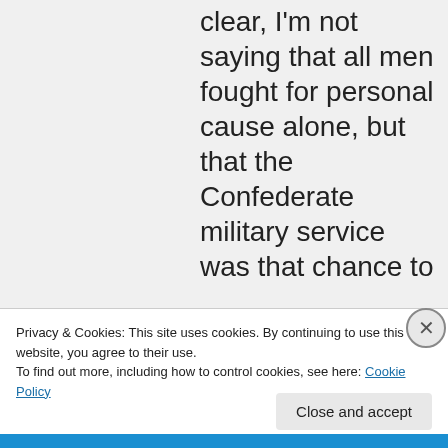And, to be clear, I'm not saying that all men fought for personal cause alone, but that the Confederate military service was that chance to
Privacy & Cookies: This site uses cookies. By continuing to use this website, you agree to their use.
To find out more, including how to control cookies, see here: Cookie Policy